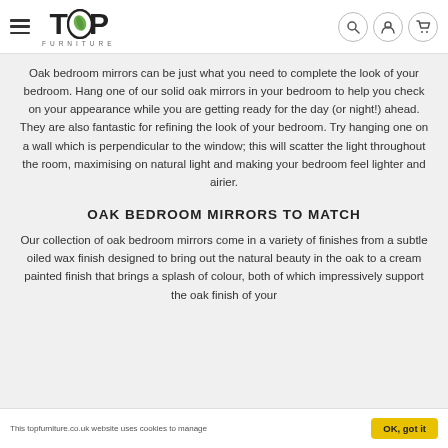TOP FURNITURE [navigation header with logo, hamburger menu, search, account, and cart icons]
Oak bedroom mirrors can be just what you need to complete the look of your bedroom. Hang one of our solid oak mirrors in your bedroom to help you check on your appearance while you are getting ready for the day (or night!) ahead. They are also fantastic for refining the look of your bedroom. Try hanging one on a wall which is perpendicular to the window; this will scatter the light throughout the room, maximising on natural light and making your bedroom feel lighter and airier.
OAK BEDROOM MIRRORS TO MATCH
Our collection of oak bedroom mirrors come in a variety of finishes from a subtle oiled wax finish designed to bring out the natural beauty in the oak to a cream painted finish that brings a splash of colour, both of which impressively support the oak finish of your
This topfurniture.co.uk website uses cookies to manage    OK, got it